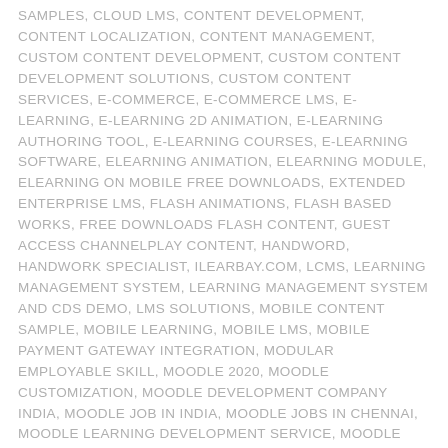SAMPLES, CLOUD LMS, CONTENT DEVELOPMENT, CONTENT LOCALIZATION, CONTENT MANAGEMENT, CUSTOM CONTENT DEVELOPMENT, CUSTOM CONTENT DEVELOPMENT SOLUTIONS, CUSTOM CONTENT SERVICES, E-COMMERCE, E-COMMERCE LMS, E-LEARNING, E-LEARNING 2D ANIMATION, E-LEARNING AUTHORING TOOL, E-LEARNING COURSES, E-LEARNING SOFTWARE, ELEARNING ANIMATION, ELEARNING MODULE, ELEARNING ON MOBILE FREE DOWNLOADS, EXTENDED ENTERPRISE LMS, FLASH ANIMATIONS, FLASH BASED WORKS, FREE DOWNLOADS FLASH CONTENT, GUEST ACCESS CHANNELPLAY CONTENT, HANDWORD, HANDWORK SPECIALIST, ILEARBAY.COM, LCMS, LEARNING MANAGEMENT SYSTEM, LEARNING MANAGEMENT SYSTEM AND CDS DEMO, LMS SOLUTIONS, MOBILE CONTENT SAMPLE, MOBILE LEARNING, MOBILE LMS, MOBILE PAYMENT GATEWAY INTEGRATION, MODULAR EMPLOYABLE SKILL, MOODLE 2020, MOODLE CUSTOMIZATION, MOODLE DEVELOPMENT COMPANY INDIA, MOODLE JOB IN INDIA, MOODLE JOBS IN CHENNAI, MOODLE LEARNING DEVELOPMENT SERVICE, MOODLE LMS, MOODLE LMS SOFTWARE SOLUTION, MOODLE OPEN SOURCE CUSTOMIZATION, MOODLE PAYMENT GATEWAY SERVICES, MOODLE PLATFORM DEVELOPMENT, MOODLE SERVICES, MOODLE SOFTWARE SOLUTION, MOODLE TRAINING CENTERS, NIMI, ON PREMISE LMS, OPEN SOURCE CUSTOMIZATIONS 3D ANIMATIONS, ORNAMENTALIST, RAPID E-LEARNING DEVELOPMENT, RAPID E-LEARNING DEVELOPMENT PROCESS, SCORM, SHOPIFY LMS, TABLET LEARNING CONTENT FREE DOWNLOADS, TRADITIONAL E-LEARNING DEVELOPMENT, TRAINING MANAGEMENT SYSTEM, VIDEO